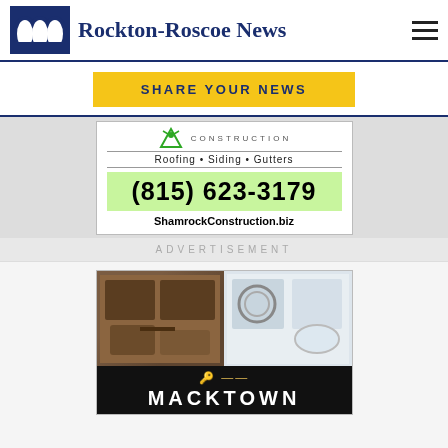Rockton-Roscoe News
SHARE YOUR NEWS
[Figure (advertisement): Shamrock Construction advertisement showing logo, services (Roofing, Siding, Gutters), phone number (815) 623-3179, and website ShamrockConstruction.biz]
ADVERTISEMENT
[Figure (advertisement): Macktown advertisement showing two interior home photos (living room and bathroom) above a black banner with a gold key icon and 'MACKTOWN' text]